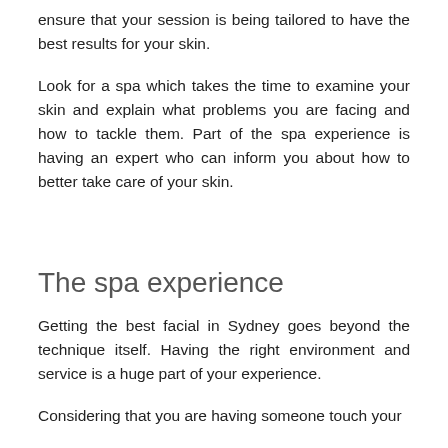ensure that your session is being tailored to have the best results for your skin.
Look for a spa which takes the time to examine your skin and explain what problems you are facing and how to tackle them. Part of the spa experience is having an expert who can inform you about how to better take care of your skin.
The spa experience
Getting the best facial in Sydney goes beyond the technique itself. Having the right environment and service is a huge part of your experience.
Considering that you are having someone touch your